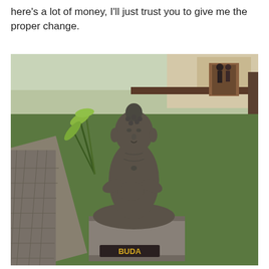here's a lot of money, I'll just trust you to give me the proper change.
[Figure (photo): A dark stone Buddha statue seated in lotus position with hands in prayer/mudra gesture, placed on a stone pedestal labeled 'BUDA'. The statue is in an outdoor garden setting with green lawn, paved stone walkway, tropical plants, and a building with open doorway in the background.]